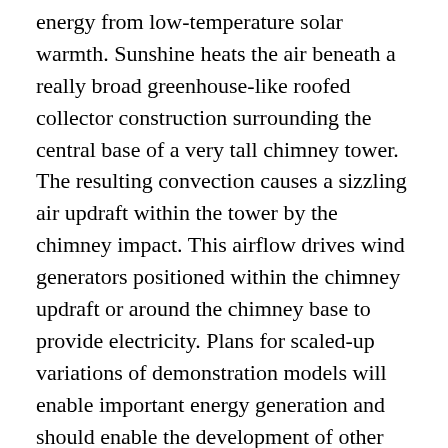energy from low-temperature solar warmth. Sunshine heats the air beneath a really broad greenhouse-like roofed collector construction surrounding the central base of a very tall chimney tower. The resulting convection causes a sizzling air updraft within the tower by the chimney impact. This airflow drives wind generators positioned within the chimney updraft or around the chimney base to provide electricity. Plans for scaled-up variations of demonstration models will enable important energy generation and should enable the development of other applications, such as water extraction or distillation, and agriculture or horticulture. A more superior model of a similarly themed know-how is the Vortex engine which aims to switch large bodily chimneys with a vortex of air created by a shorter, less-expensive construction.